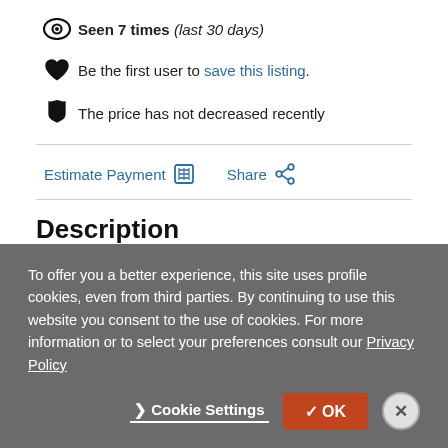Seen 7 times (last 30 days)
Be the first user to save this listing.
The price has not decreased recently
Estimate Payment  Share
Description
To offer you a better experience, this site uses profile cookies, even from third parties. By continuing to use this website you consent to the use of cookies. For more information or to select your preferences consult our Privacy Policy